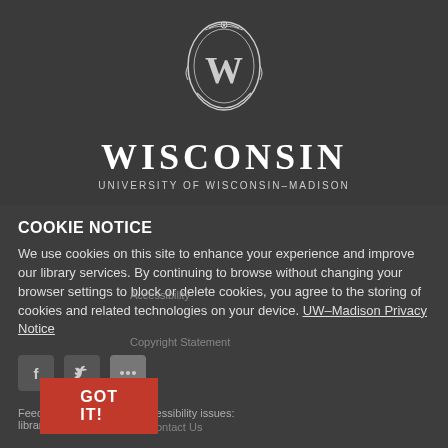[Figure (logo): University of Wisconsin-Madison crest/shield logo with W letter, above WISCONSIN UNIVERSITY OF WISCONSIN-MADISON text]
COOKIE NOTICE
We use cookies on this site to enhance your experience and improve our library services. By continuing to browse without changing your browser settings to block or delete cookies, you agree to the storing of cookies and related technologies on your device. UW–Madison Privacy Notice
[Figure (screenshot): Semi-transparent overlay menu items: Accessibility, Copyright Statement, Policies, Contact Us]
[Figure (infographic): Social media icons (Facebook, Twitter, dots/more) and a red GOT IT! button]
Feedback, questions, or accessibility issues:
libraries@wisc.edu